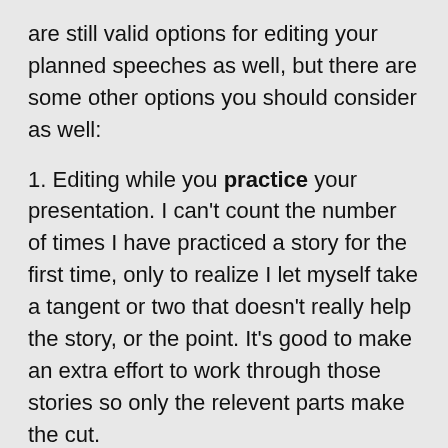are still valid options for editing your planned speeches as well, but there are some other options you should consider as well:
1. Editing while you practice your presentation. I can't count the number of times I have practiced a story for the first time, only to realize I let myself take a tangent or two that doesn't really help the story, or the point. It's good to make an extra effort to work through those stories so only the relevent parts make the cut.
2. Building on that, get a "flip" video recorder (or use your existing video camera) and tape yourself practicing. You can watch yourself before you present in public, and make some changes as needed.
3. Get yourself a "mastermind group". That's a group of people (can be any number, but 2-4 is a good number) you meet with periodically to work together with on your goals. Sometimes you can find a person who is secretly a fantastic editor at heart.